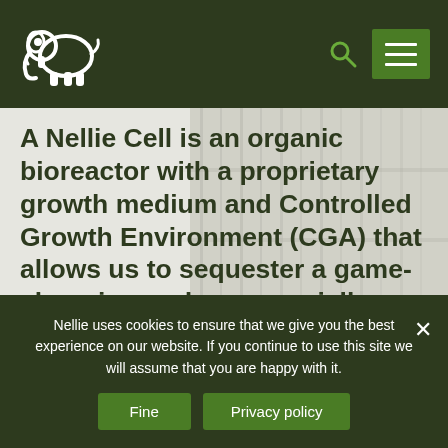Nellie [logo] — navigation header with search and menu
A Nellie Cell is an organic bioreactor with a proprietary growth medium and Controlled Growth Environment (CGA) that allows us to sequester a game-changing and commercially viable volume of carbon dioxide direct from ambient air.
Nellie uses cookies to ensure that we give you the best experience on our website. If you continue to use this site we will assume that you are happy with it.
Fine | Privacy policy